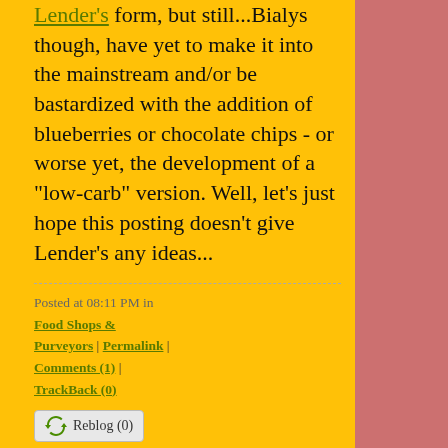Lender's form, but still...Bialys though, have yet to make it into the mainstream and/or be bastardized with the addition of blueberries or chocolate chips - or worse yet, the development of a "low-carb" version. Well, let's just hope this posting doesn't give Lender's any ideas...
Posted at 08:11 PM in Food Shops & Purveyors | Permalink | Comments (1) | TrackBack (0)
Reblog (0)
November 19,